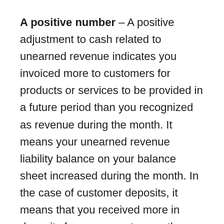A positive number – A positive adjustment to cash related to unearned revenue indicates you invoiced more to customers for products or services to be provided in a future period than you recognized as revenue during the month. It means your unearned revenue liability balance on your balance sheet increased during the month. In the case of customer deposits, it means that you received more in deposits from your customers than you recorded as sales in your P&L. For example, assume you received a $10,000 deposit from a customer for work you will not complete and invoice to them until two months from now. You received the